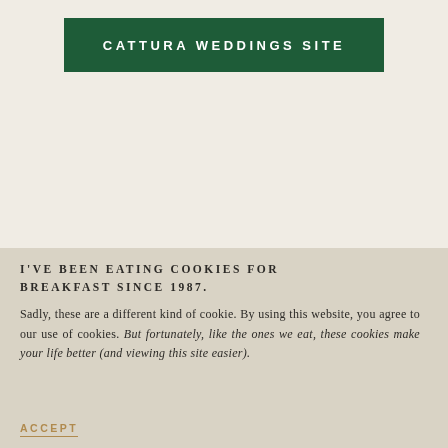CATTURA WEDDINGS SITE
I'VE BEEN EATING COOKIES FOR BREAKFAST SINCE 1987.
Sadly, these are a different kind of cookie. By using this website, you agree to our use of cookies. But fortunately, like the ones we eat, these cookies make your life better (and viewing this site easier).
ACCEPT